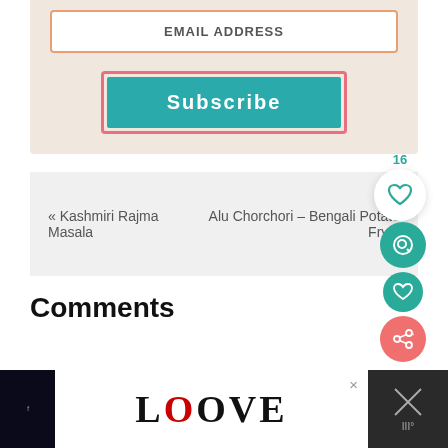EMAIL ADDRESS
SUBSCRIBE
« Kashmiri Rajma Masala
Alu Chorchori – Bengali Potato Fry »
Comments
[Figure (screenshot): Advertisement banner with 'LOOVE' stylized text]